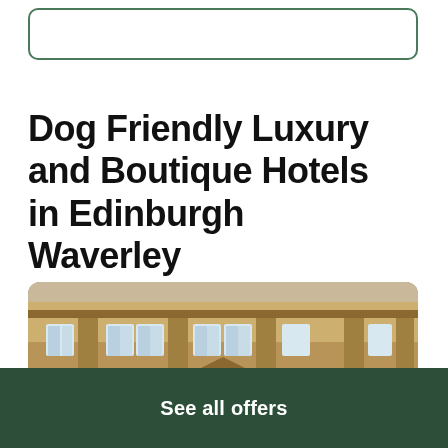[Figure (other): Empty search input box with rounded border in dark green]
Dog Friendly Luxury and Boutique Hotels in Edinburgh Waverley
[Figure (photo): Exterior facade of a grand Georgian/neoclassical stone building with columns, tall windows, and a central doorway — a luxury hotel in Edinburgh Waverley]
See all offers